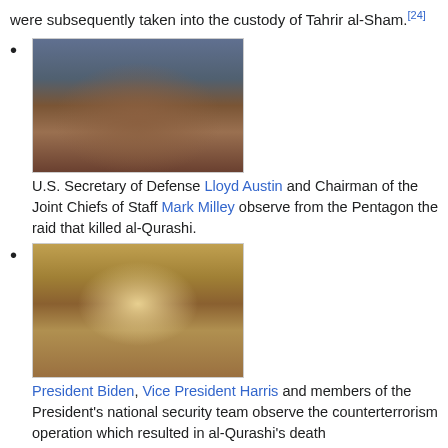were subsequently taken into the custody of Tahrir al-Sham.[24]
[Figure (photo): U.S. Secretary of Defense Lloyd Austin and Chairman of the Joint Chiefs of Staff Mark Milley and other officials seated around a conference table wearing masks, observing from the Pentagon during the raid that killed al-Qurashi.]
U.S. Secretary of Defense Lloyd Austin and Chairman of the Joint Chiefs of Staff Mark Milley observe from the Pentagon the raid that killed al-Qurashi.
[Figure (photo): President Biden, Vice President Harris and members of the President's national security team seated around a table in the Situation Room observing the counterterrorism operation which resulted in al-Qurashi's death.]
President Biden, Vice President Harris and members of the President's national security team observe the counterterrorism operation which resulted in al-Qurashi's death